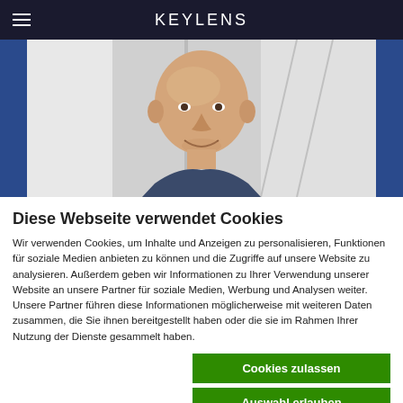KEYLENS
[Figure (photo): Photo of a bald smiling man in front of a blurred background, framed by dark blue side panels]
Diese Webseite verwendet Cookies
Wir verwenden Cookies, um Inhalte und Anzeigen zu personalisieren, Funktionen für soziale Medien anbieten zu können und die Zugriffe auf unsere Website zu analysieren. Außerdem geben wir Informationen zu Ihrer Verwendung unserer Website an unsere Partner für soziale Medien, Werbung und Analysen weiter. Unsere Partner führen diese Informationen möglicherweise mit weiteren Daten zusammen, die Sie ihnen bereitgestellt haben oder die sie im Rahmen Ihrer Nutzung der Dienste gesammelt haben.
Cookies zulassen
Auswahl erlauben
Nur notwendige Cookies
Notwendig  Präferenzen  Statistiken  Marketing  Details zeigen